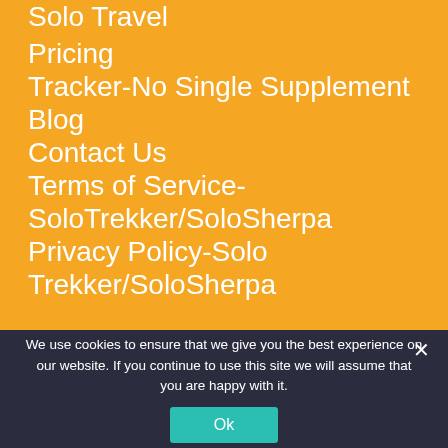Solo Travel
Pricing
Tracker-No Single Supplement
Blog
Contact Us
Terms of Service-SoloTrekker/SoloSherpa
Privacy Policy-Solo Trekker/SoloSherpa
We use cookies to ensure that we give you the best experience on our website. If you continue to use this site we will assume that you are happy with it.
Ok